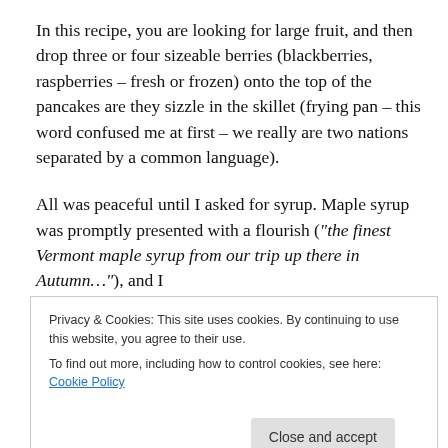In this recipe, you are looking for large fruit, and then drop three or four sizeable berries (blackberries, raspberries – fresh or frozen) onto the top of the pancakes are they sizzle in the skillet (frying pan – this word confused me at first – we really are two nations separated by a common language).
All was peaceful until I asked for syrup. Maple syrup was promptly presented with a flourish ("the finest Vermont maple syrup from our trip up there in Autumn…"), and I
Privacy & Cookies: This site uses cookies. By continuing to use this website, you agree to their use.
To find out more, including how to control cookies, see here: Cookie Policy
probably nothing I could do to bring them round. The